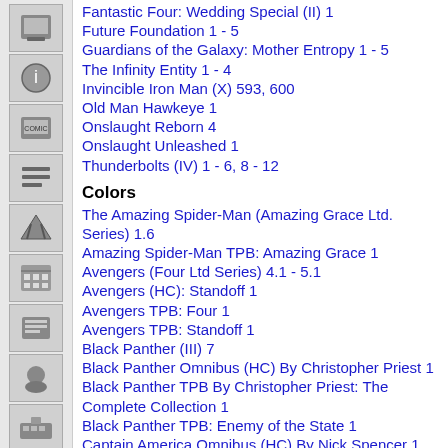Fantastic Four: Wedding Special (II) 1
Future Foundation 1 - 5
Guardians of the Galaxy: Mother Entropy 1 - 5
The Infinity Entity 1 - 4
Invincible Iron Man (X) 593, 600
Old Man Hawkeye 1
Onslaught Reborn 4
Onslaught Unleashed 1
Thunderbolts (IV) 1 - 6, 8 - 12
Colors
The Amazing Spider-Man (Amazing Grace Ltd. Series) 1.6
Amazing Spider-Man TPB: Amazing Grace 1
Avengers (Four Ltd Series) 4.1 - 5.1
Avengers (HC): Standoff 1
Avengers TPB: Four 1
Avengers TPB: Standoff 1
Black Panther (III) 7
Black Panther Omnibus (HC) By Christopher Priest 1
Black Panther TPB By Christopher Priest: The Complete Collection 1
Black Panther TPB: Enemy of the State 1
Captain America Omnibus (HC) By Nick Spencer 1
Captain America: Sam Wilson 7, 23 - 24
Captain America: Sam Wilson TPB 2
Captain America: Sam Wilson TPB: The Complete Collection 2
Captain America TPB: Secret Empire 1
Deadpool Classics TPB 12